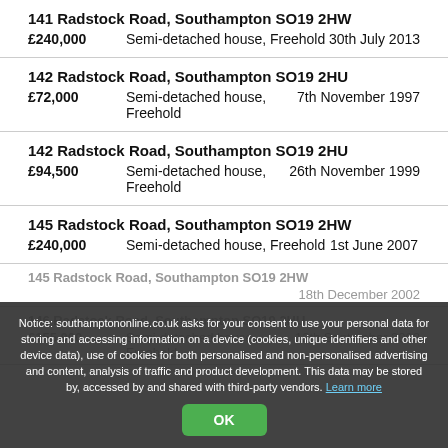141 Radstock Road, Southampton SO19 2HW
£240,000   Semi-detached house, Freehold   30th July 2013
142 Radstock Road, Southampton SO19 2HU
£72,000   Semi-detached house, Freehold   7th November 1997
142 Radstock Road, Southampton SO19 2HU
£94,500   Semi-detached house, Freehold   26th November 1999
145 Radstock Road, Southampton SO19 2HW
£240,000   Semi-detached house, Freehold   1st June 2007
145 Radstock Road, Southampton SO19 2HW
18th December 2002
146 Radstock Road, Southampton SO19 2HU
£155,000   Semi-detached house, Freehold   12th September 2002
Notice: southamptononline.co.uk asks for your consent to use your personal data for storing and accessing information on a device (cookies, unique identifiers and other device data), use of cookies for both personalised and non-personalised advertising and content, analysis of traffic and product development. This data may be stored by, accessed by and shared with third-party vendors. Learn more